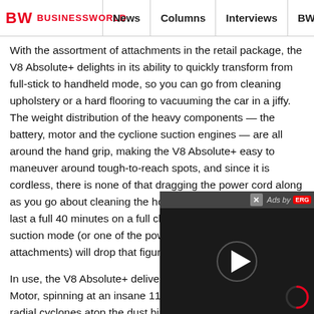BW BUSINESSWORLD | News | Columns | Interviews | BW
With the assortment of attachments in the retail package, the V8 Absolute+ delights in its ability to quickly transform from full-stick to handheld mode, so you can go from cleaning upholstery or a hard flooring to vacuuming the car in a jiffy. The weight distribution of the heavy components — the battery, motor and the cyclione suction engines — are all around the hand grip, making the V8 Absolute+ easy to maneuver around tough-to-reach spots, and since it is cordless, there is none of that dragging the power cord along as you go about cleaning the house. There is enough juice to last a full 40 minutes on a full charge, but switching to Max suction mode (or one of the power-hungry cleaning attachments) will drop that figure down to 7-10 minutes.
In use, the V8 Absolute+ delivers, and ho... Motor, spinning at an insane 110,000rpm, radial cyclones atop the dust bin to provi... needed to tackle all manners of dust. Som... have their own motors to agitate the dust... others articulate to allow you to reach tho... brooms seldom dare...or easily cover large areas around you
[Figure (screenshot): Video advertisement overlay with close button (x), 'Ads by ERG' label, and a play button on a dark background with a red circular progress indicator in the bottom right corner.]